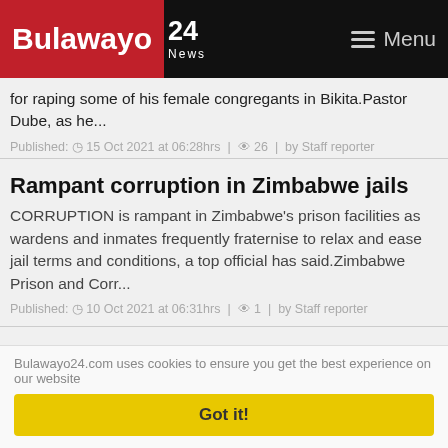Bulawayo 24 News — Menu
for raping some of his female congregants in Bikita.Pastor Dube, as he...
Published: © 15 Oct 2021 at 06:28hrs | 👁 26 | by Staff reporter
Rampant corruption in Zimbabwe jails
CORRUPTION is rampant in Zimbabwe's prison facilities as wardens and inmates frequently fraternise to relax and ease jail terms and conditions, a top official has said.Zimbabwe Prison and Corr...
Published: © 10 Oct 2021 at 06:31hrs | 👁 1 | by Staff reporter
Bulawayo24.com uses cookies to ensure you get the best experience on our website